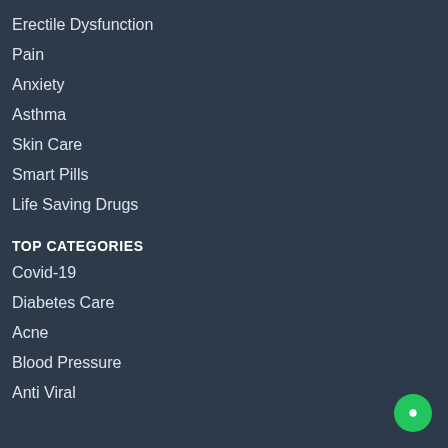Erectile Dysfunction
Pain
Anxiety
Asthma
Skin Care
Smart Pills
Life Saving Drugs
TOP CATEGORIES
Covid-19
Diabetes Care
Acne
Blood Pressure
Anti Viral